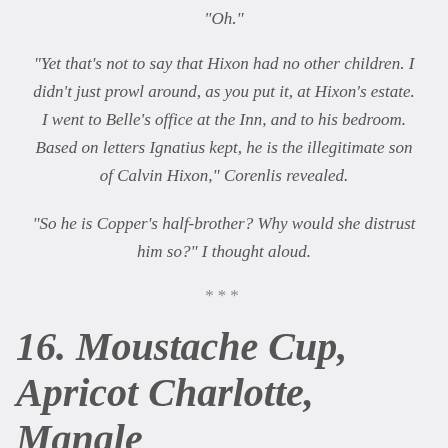“Oh.”
“Yet that’s not to say that Hixon had no other children.  I didn’t just prowl around, as you put it, at Hixon’s estate.  I went to Belle’s office at the Inn, and to his bedroom.  Based on letters Ignatius kept, he is the illegitimate son of Calvin Hixon,” Corenlis revealed.
“So he is Copper’s half-brother?  Why would she distrust him so?” I thought aloud.
***
16.  Moustache Cup, Apricot Charlotte, Mangle